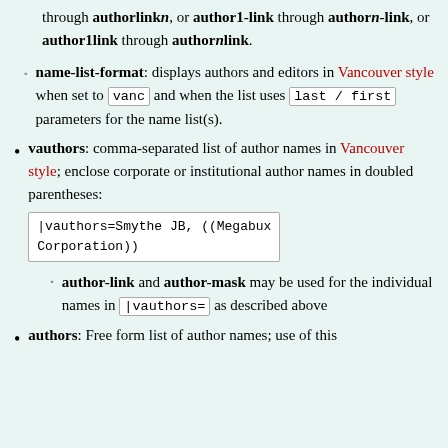through authorlinkn, or author1-link through authorn-link, or author1link through authornlink.
name-list-format: displays authors and editors in Vancouver style when set to vanc and when the list uses last / first parameters for the name list(s).
vauthors: comma-separated list of author names in Vancouver style; enclose corporate or institutional author names in doubled parentheses: |vauthors=Smythe JB, ((Megabux Corporation))
author-link and author-mask may be used for the individual names in |vauthors= as described above
authors: Free form list of author names; use of this